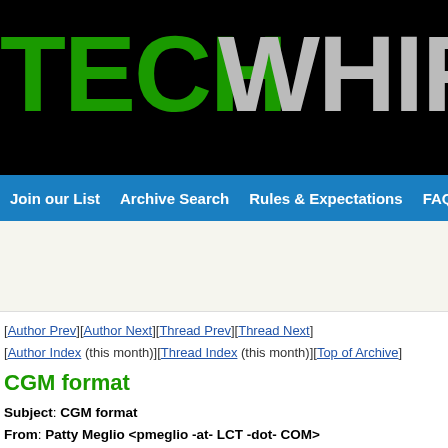[Figure (logo): TechWhirl Archive logo banner on black background with green TECH text, gray WHIRL text, globe icon, and white Ar text]
Join our List   Archive Search   Rules & Expectations   FAQs   Ab
[Author Prev][Author Next][Thread Prev][Thread Next]
[Author Index (this month)][Thread Index (this month)][Top of Archive]
CGM format
Subject: CGM format
From: Patty Meglio <pmeglio -at- LCT -dot- COM>
Date: Thu, 10 Sep 1998 15:50:59 -0500
SUB TECHWR-L Patty Meglio
I would like to create a CGM file on the PC that I can move over to the UNIX to plot on a Versatec plotter. I am using the plotter to get a poster-sized print of a document that can be done in-house as opposed to sending it to an outside printer ($$$$$).